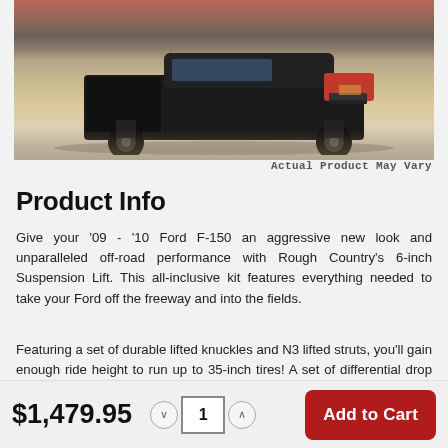[Figure (photo): Photo of a lifted Ford F-150 truck driving off-road on dirt/sand terrain, viewed from front-low angle. The truck appears to be black/dark colored.]
Actual Product May Vary
Product Info
Give your '09 - '10 Ford F-150 an aggressive new look and unparalleled off-road performance with Rough Country's 6-inch Suspension Lift. This all-inclusive kit features everything needed to take your Ford off the freeway and into the fields.
Featuring a set of durable lifted knuckles and N3 lifted struts, you'll gain enough ride height to run up to 35-inch tires! A set of differential drop brackets, sway-bar drop
$1,479.95
Add to Cart